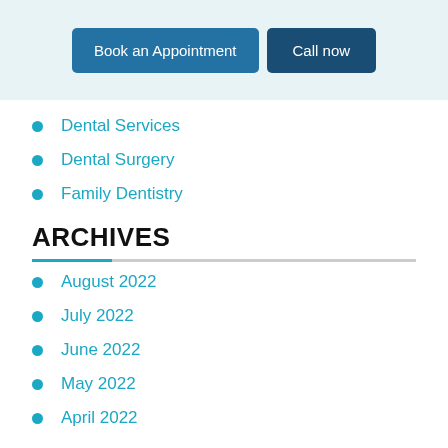Book an Appointment | Call now
Dental Services
Dental Surgery
Family Dentistry
ARCHIVES
August 2022
July 2022
June 2022
May 2022
April 2022